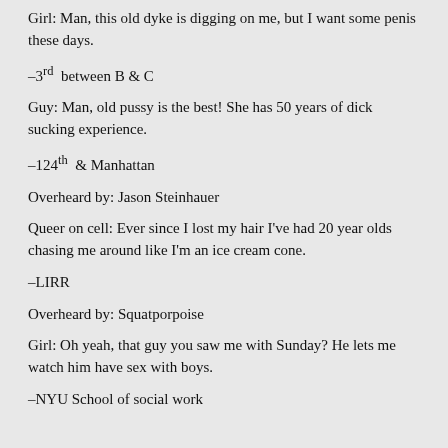Girl: Man, this old dyke is digging on me, but I want some penis these days.
–3rd between B & C
Guy: Man, old pussy is the best! She has 50 years of dick sucking experience.
–124th & Manhattan
Overheard by: Jason Steinhauer
Queer on cell: Ever since I lost my hair I've had 20 year olds chasing me around like I'm an ice cream cone.
–LIRR
Overheard by: Squatporpoise
Girl: Oh yeah, that guy you saw me with Sunday? He lets me watch him have sex with boys.
–NYU School of social work